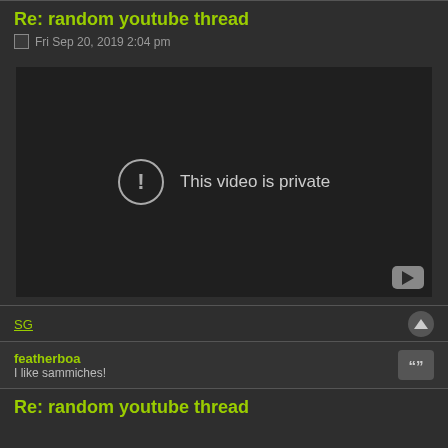Re: random youtube thread
Fri Sep 20, 2019 2:04 pm
[Figure (screenshot): Embedded YouTube video placeholder showing 'This video is private' message with exclamation icon and YouTube logo button in bottom-right corner]
SG
featherboa
I like sammiches!
Re: random youtube thread